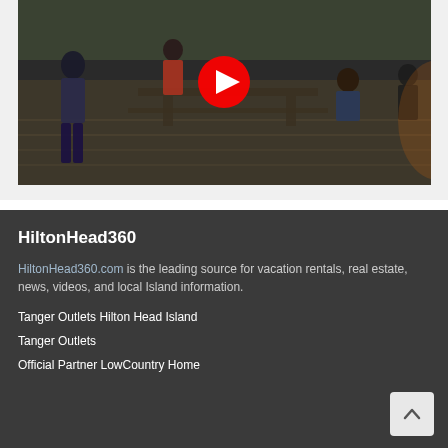[Figure (screenshot): YouTube video thumbnail showing people gathered outdoors around a picnic table on a wooden deck, with a YouTube play button overlay in the center.]
HiltonHead360
HiltonHead360.com is the leading source for vacation rentals, real estate, news, videos, and local Island information.
Tanger Outlets Hilton Head Island
Tanger Outlets
Official Partner LowCountry Home